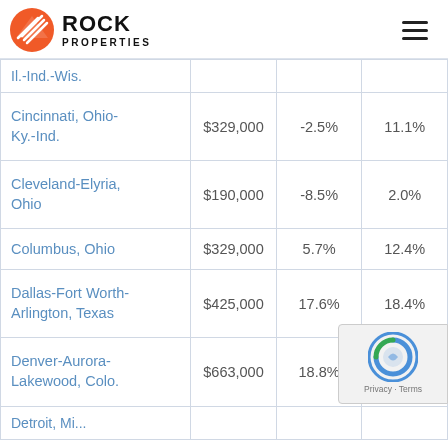Rock Properties
| City | Price | Change | YoY |
| --- | --- | --- | --- |
| Il.-Ind.-Wis. |  |  |  |
| Cincinnati, Ohio-Ky.-Ind. | $329,000 | -2.5% | 11.1% |
| Cleveland-Elyria, Ohio | $190,000 | -8.5% | 2.0% |
| Columbus, Ohio | $329,000 | 5.7% | 12.4% |
| Dallas-Fort Worth-Arlington, Texas | $425,000 | 17.6% | 18.4% |
| Denver-Aurora-Lakewood, Colo. | $663,000 | 18.8% |  |
| Detroit, Mi... |  |  |  |